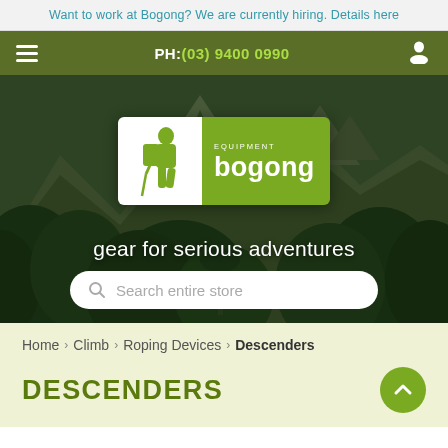Want to work at Bogong? We are currently hiring. Details here
PH: (03) 9400 0990
[Figure (photo): Hero image of mountain landscape with jungle/forest in foreground and rocky peaks in background, with Bogong Equipment logo overlay, tagline 'gear for serious adventures', and search bar]
Home > Climb > Roping Devices > Descenders
DESCENDERS